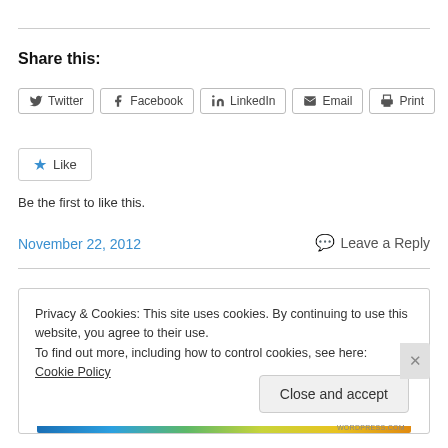Share this:
Twitter | Facebook | LinkedIn | Email | Print
Like
Be the first to like this.
November 22, 2012
Leave a Reply
Privacy & Cookies: This site uses cookies. By continuing to use this website, you agree to their use.
To find out more, including how to control cookies, see here: Cookie Policy